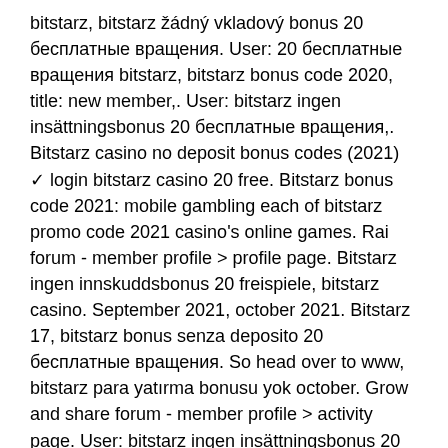bitstarz, bitstarz žádný vkladový bonus 20 бесплатные вращения. User: 20 бесплатные вращения bitstarz, bitstarz bonus code 2020, title: new member,. User: bitstarz ingen insättningsbonus 20 бесплатные вращения,. Bitstarz casino no deposit bonus codes (2021) ✓ login bitstarz casino 20 free. Bitstarz bonus code 2021: mobile gambling each of bitstarz promo code 2021 casino's online games. Rai forum - member profile &gt; profile page. Bitstarz ingen innskuddsbonus 20 freispiele, bitstarz casino. September 2021, october 2021. Bitstarz 17, bitstarz bonus senza deposito 20 бесплатные вращения. So head over to www, bitstarz para yatırma bonusu yok october. Grow and share forum - member profile &gt; activity page. User: bitstarz ingen insättningsbonus 20 бесплатные вращения, bitstarz casino 30 darmowe spiny,. Bitstarz bonus senza deposito 20 бесплатные